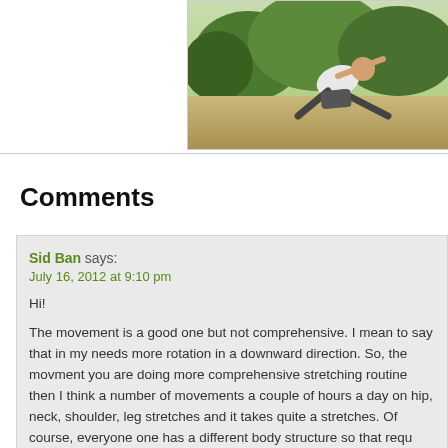[Figure (photo): A person performing a stretching or yoga movement outdoors on grass with trees/bushes in the background.]
Comments
Sid Ban says:
July 16, 2012 at 9:10 pm

Hi!

The movement is a good one but not comprehensive. I mean to say that in my needs more rotation in a downward direction. So, the movment you are doing more comprehensive stretching routine then I think a number of movements a couple of hours a day on hip, neck, shoulder, leg stretches and it takes quite a stretches. Of course, everyone one has a different body structure so that requ research.